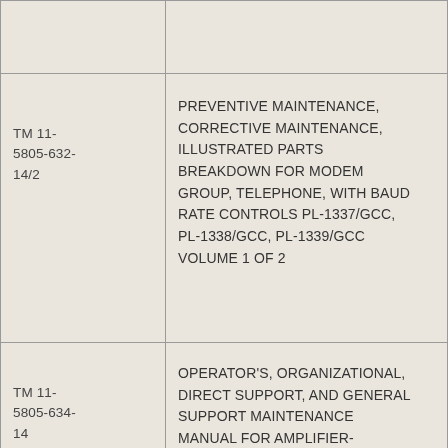|  |  |
| TM 11-5805-632-14/2 | PREVENTIVE MAINTENANCE, CORRECTIVE MAINTENANCE, ILLUSTRATED PARTS BREAKDOWN FOR MODEM GROUP, TELEPHONE, WITH BAUD RATE CONTROLS PL-1337/GCC, PL-1338/GCC, PL-1339/GCC VOLUME 1 OF 2 |
| TM 11-5805-634-14 | OPERATOR'S, ORGANIZATIONAL, DIRECT SUPPORT, AND GENERAL SUPPORT MAINTENANCE MANUAL FOR AMPLIFIER-OSCILLATOR, TELEPHONE TA- |